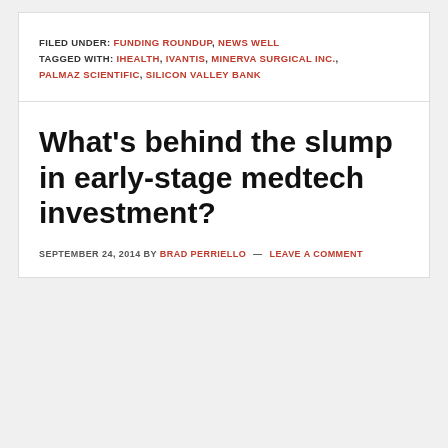FILED UNDER: FUNDING ROUNDUP, NEWS WELL
TAGGED WITH: IHEALTH, IVANTIS, MINERVA SURGICAL INC., PALMAZ SCIENTIFIC, SILICON VALLEY BANK
What's behind the slump in early-stage medtech investment?
SEPTEMBER 24, 2014 BY BRAD PERRIELLO — LEAVE A COMMENT